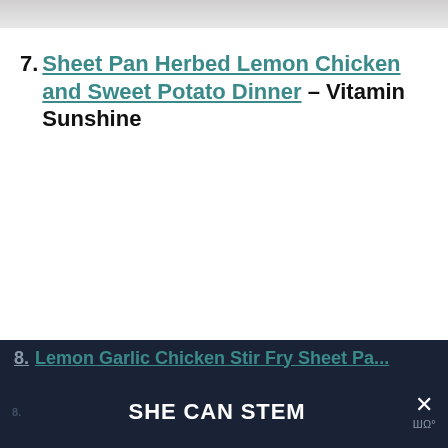[Figure (photo): Top strip showing partial image, gray gradient]
7. Sheet Pan Herbed Lemon Chicken and Sweet Potato Dinner – Vitamin Sunshine
SHE CAN STEM